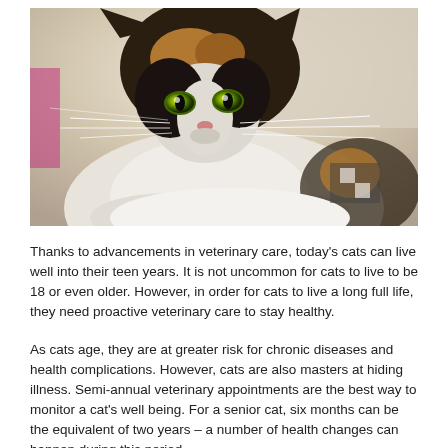[Figure (photo): Close-up photograph of a calico cat with green eyes resting, looking directly at the camera. The cat has black, brown/gold, and white fur with distinctive markings on its face.]
Thanks to advancements in veterinary care, today's cats can live well into their teen years. It is not uncommon for cats to live to be 18 or even older. However, in order for cats to live a long full life, they need proactive veterinary care to stay healthy.
As cats age, they are at greater risk for chronic diseases and health complications. However, cats are also masters at hiding illness. Semi-annual veterinary appointments are the best way to monitor a cat's well being. For a senior cat, six months can be the equivalent of two years – a number of health changes can happen during this period.